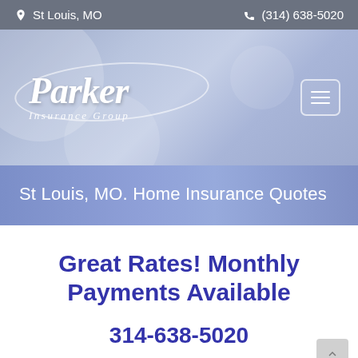St Louis, MO   (314) 638-5020
[Figure (logo): Parker Insurance Group logo on blue-purple blurred background with hamburger menu button]
St Louis, MO. Home Insurance Quotes
Great Rates! Monthly Payments Available
314-638-5020